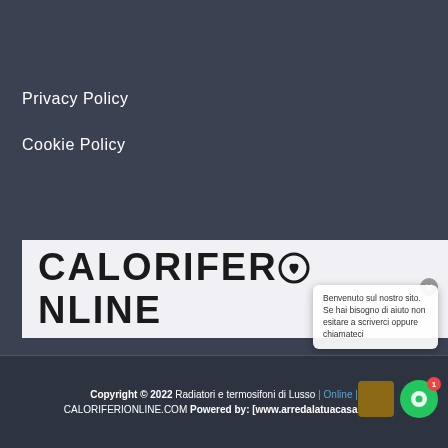↑↑
Privacy Policy
Cookie Policy
[Figure (logo): CALORIFERIONLINE logo in black bold text on light background with heart symbol replacing the letter O]
[Figure (screenshot): Chat popup overlay with text: Benvenuto sul nostro sito. Se hai bisogno di aiuto non esitare a scriverci oppure chiamateci]
Copyright © 2022 Radiatori e termosifoni di Lusso | Online | CALORIFERIONLINE.COM Powered by: [www.arredalatuacasa.com]